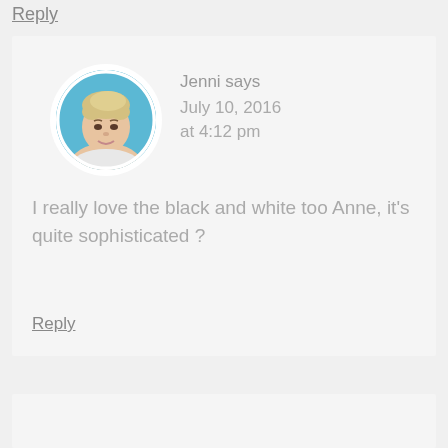Reply
[Figure (photo): Circular profile photo of a woman with short blonde hair against a blue background]
Jenni says July 10, 2016 at 4:12 pm
I really love the black and white too Anne, it’s quite sophisticated ?
Reply